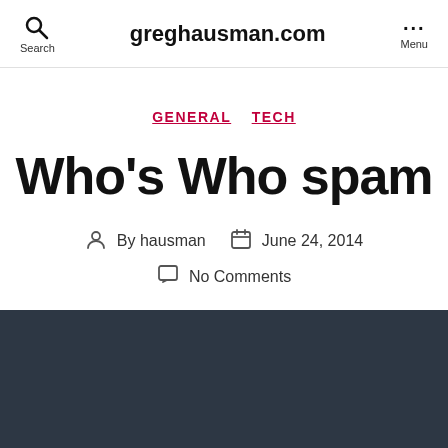greghausman.com
GENERAL  TECH
Who's Who spam
By hausman  June 24, 2014
No Comments
UPDATE August 2016:
Obviously non-US email senders/subjects may use UTF-